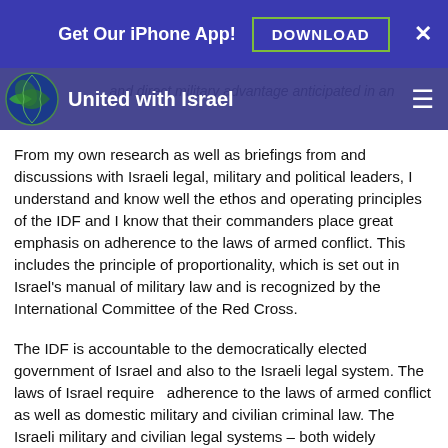Get Our iPhone App! DOWNLOAD ×
United with Israel
in re... and direct military advantage anticipated in an attack.
From my own research as well as briefings from and discussions with Israeli legal, military and political leaders, I understand and know well the ethos and operating principles of the IDF and I know that their commanders place great emphasis on adherence to the laws of armed conflict. This includes the principle of proportionality, which is set out in Israel's manual of military law and is recognized by the International Committee of the Red Cross.
The IDF is accountable to the democratically elected government of Israel and also to the Israeli legal system. The laws of Israel require  adherence to the laws of armed conflict as well as domestic military and civilian criminal law. The Israeli military and civilian legal systems – both widely respected by international legal authorities – are empowered to take appropriate action against IDF personnel who transgress